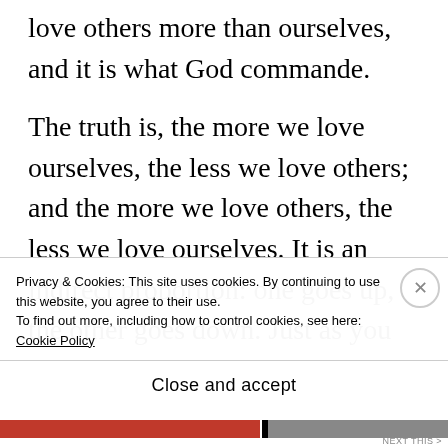love others more than ourselves, and it is what God commande.
The truth is, the more we love ourselves, the less we love others; and the more we love others, the less we love ourselves. It is an indirect proportion: one goes up, the other goes down. Just as you can not have hate in your heart for one person and love someone else in the right…
Privacy & Cookies: This site uses cookies. By continuing to use this website, you agree to their use.
To find out more, including how to control cookies, see here:
Cookie Policy
Close and accept